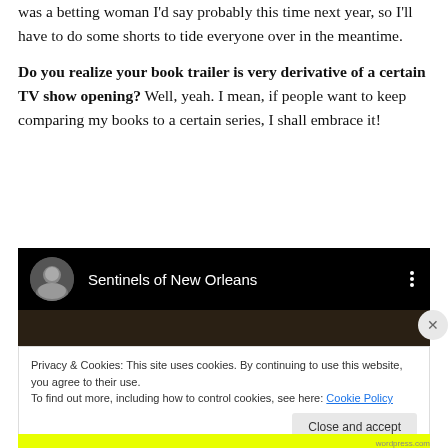When's book four coming out? I have no idea, but if I was a betting woman I'd say probably this time next year, so I'll have to do some shorts to tide everyone over in the meantime.
Do you realize your book trailer is very derivative of a certain TV show opening? Well, yeah. I mean, if people want to keep comparing my books to a certain series, I shall embrace it!
[Figure (screenshot): YouTube-style video player header showing 'Sentinels of New Orleans' channel name with avatar photo of a woman, three-dot menu icon, on black background with dark preview strip below.]
Privacy & Cookies: This site uses cookies. By continuing to use this website, you agree to their use. To find out more, including how to control cookies, see here: Cookie Policy